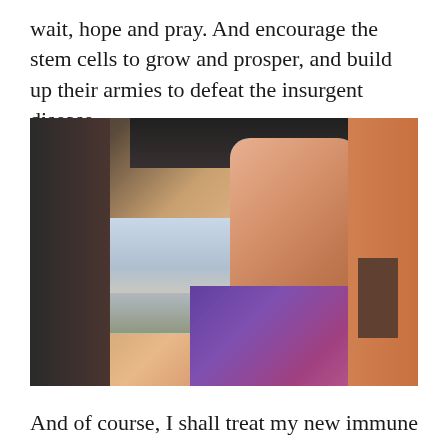wait, hope and pray. And encourage the stem cells to grow and prosper, and build up their armies to defeat the insurgent disease.
[Figure (photo): A bald woman taking a selfie, looking at the camera with a neutral expression. She is wearing a purple patterned top with a pink strap visible. The background shows a city skyline through a window or opening, with mountains in the distance. An orange wall is visible on the right, and another person wearing a dark cap is partially visible on the far right.]
And of course, I shall treat my new immune